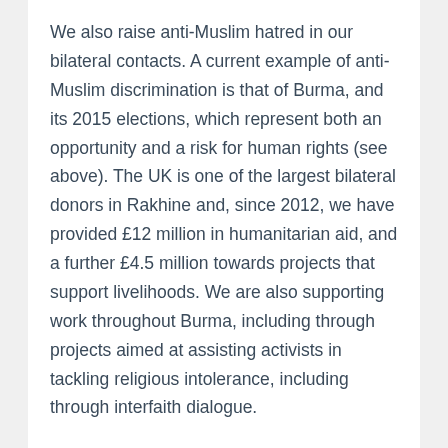We also raise anti-Muslim hatred in our bilateral contacts. A current example of anti-Muslim discrimination is that of Burma, and its 2015 elections, which represent both an opportunity and a risk for human rights (see above). The UK is one of the largest bilateral donors in Rakhine and, since 2012, we have provided £12 million in humanitarian aid, and a further £4.5 million towards projects that support livelihoods. We are also supporting work throughout Burma, including through projects aimed at assisting activists in tackling religious intolerance, including through interfaith dialogue.
The UK's cross-government Anti-Muslim Hatred Working Group brings together leading